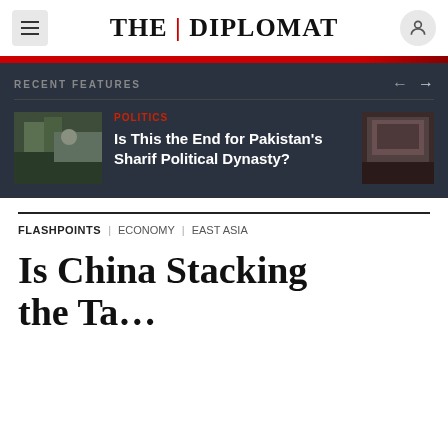THE DIPLOMAT
RECENT FEATURES
Is This the End for Pakistan's Sharif Political Dynasty?
POLITICS
FLASHPOINTS | ECONOMY | EAST ASIA
Is China Stacking the...